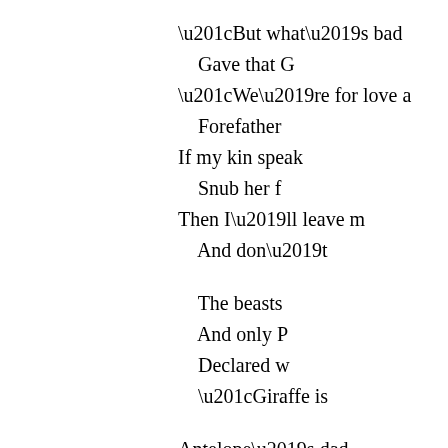“But what’s bad
    Gave that G
“We’re for love a
    Forefather
If my kin speak
    Snub her f
Then I’ll leave m
    And don’t

    The beasts
    And only P
    Declared w
    “Giraffe is

Antelope’s dad
O’er his pr
“What his muzz
    Is comical
Never ever will